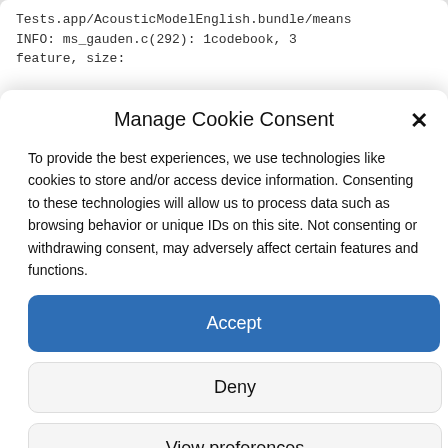Tests.app/AcousticModelEnglish.bundle/means
INFO: ms_gauden.c(292): 1codebook, 3
feature, size:
Manage Cookie Consent
To provide the best experiences, we use technologies like cookies to store and/or access device information. Consenting to these technologies will allow us to process data such as browsing behavior or unique IDs on this site. Not consenting or withdrawing consent, may adversely affect certain features and functions.
Accept
Deny
View preferences
About & Impressum & Privacy Policy
About & Impressum & Privacy Policy
About & Impressum & Privacy Policy